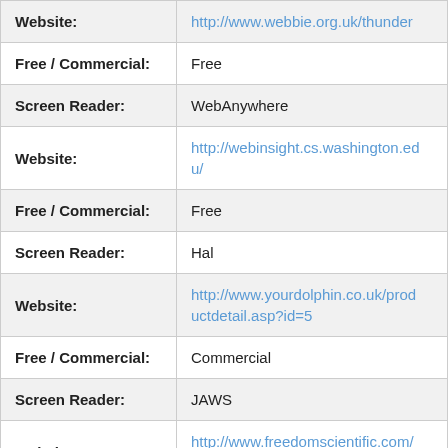| Field | Value |
| --- | --- |
| Website: | http://www.webbie.org.uk/thunder |
| Free / Commercial: | Free |
| Screen Reader: | WebAnywhere |
| Website: | http://webinsight.cs.washington.edu/ |
| Free / Commercial: | Free |
| Screen Reader: | Hal |
| Website: | http://www.yourdolphin.co.uk/productdetail.asp?id=5 |
| Free / Commercial: | Commercial |
| Screen Reader: | JAWS |
| Website: | http://www.freedomscientific.com/Downloads/JAWS |
| Free / Commercial: | Commercial |
| Screen Reader: | Supernova |